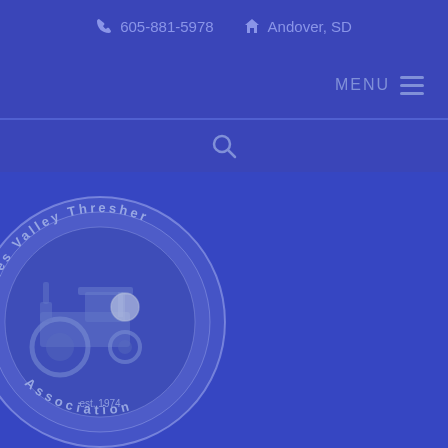605-881-5978  Andover, SD
MENU
[Figure (logo): James Valley Thresher Association circular logo with tractor image in center, text around the border reading 'James Valley Thresher Association est. 1974', overlaid on a blue-tinted background with farm machinery]